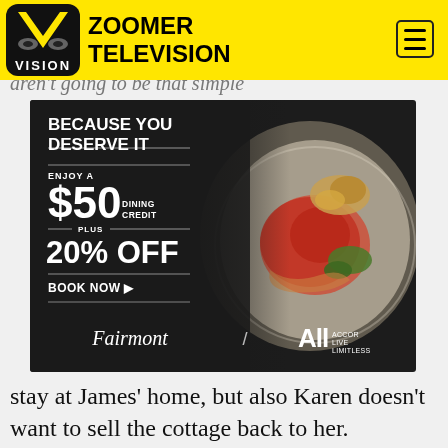[Figure (logo): Zoomer Television logo with Vision TV icon on yellow header bar]
aren't going to be that simple
[Figure (infographic): Fairmont hotel advertisement: BECAUSE YOU DESERVE IT. ENJOY A $50 DINING CREDIT PLUS 20% OFF. BOOK NOW. Fairmont / ALL (Accor Live Limitless) branding. Background shows plated gourmet food dish.]
stay at James' home, but also Karen doesn't want to sell the cottage back to her.